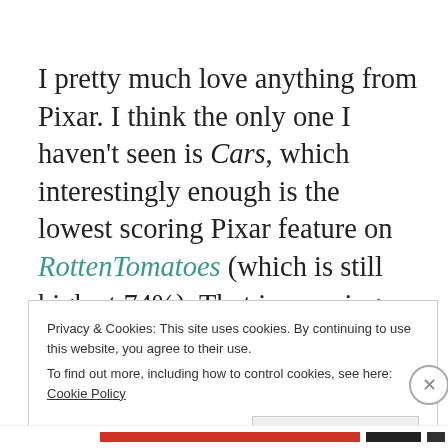I pretty much love anything from Pixar. I think the only one I haven't seen is Cars, which interestingly enough is the lowest scoring Pixar feature on RottenTomatoes (which is still high at 74%). That is amazing that for the past 16 years, the studio manages to keep a stellar record of producing quality films embraced by
Privacy & Cookies: This site uses cookies. By continuing to use this website, you agree to their use. To find out more, including how to control cookies, see here: Cookie Policy
Close and accept